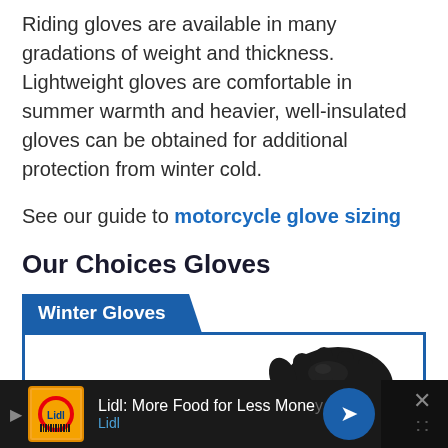Riding gloves are available in many gradations of weight and thickness. Lightweight gloves are comfortable in summer warmth and heavier, well-insulated gloves can be obtained for additional protection from winter cold.
See our guide to motorcycle glove sizing
Our Choices Gloves
[Figure (other): Blue tab labeled 'Winter Gloves' with a white card below containing a partial image of black motorcycle gloves]
[Figure (other): Advertisement banner: Lidl: More Food for Less Money - Lidl, with navigation icon and close button]